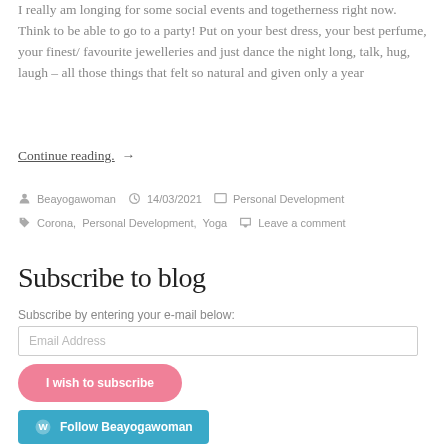I really am longing for some social events and togetherness right now. Think to be able to go to a party! Put on your best dress, your best perfume, your finest/ favourite jewelleries and just dance the night long, talk, hug, laugh – all those things that felt so natural and given only a year
Continue reading.  →
Beayogawoman  14/03/2021  Personal Development  Corona, Personal Development, Yoga  Leave a comment
Subscribe to blog
Subscribe by entering your e-mail below:
Email Address
I wish to subscribe
Follow Beayogawoman